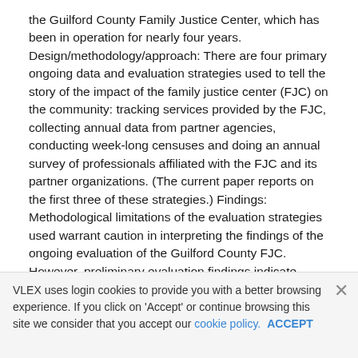the Guilford County Family Justice Center, which has been in operation for nearly four years. Design/methodology/approach: There are four primary ongoing data and evaluation strategies used to tell the story of the impact of the family justice center (FJC) on the community: tracking services provided by the FJC, collecting annual data from partner agencies, conducting week-long censuses and doing an annual survey of professionals affiliated with the FJC and its partner organizations. (The current paper reports on the first three of these strategies.) Findings: Methodological limitations of the evaluation strategies used warrant caution in interpreting the findings of the ongoing evaluation of the Guilford County FJC. However, preliminary evaluation findings indicate support for the center's positive impact on the community it serves, including in the number of clients served, a reduction in domestic violence-related homicide rates and the creation of new community resources that emerged through the FJC partnership. Research limitations/implications: Each of the evaluation strategies used in this study holds inherent strengths and limitations, which are discussed in the paper
VLEX uses login cookies to provide you with a better browsing experience. If you click on 'Accept' or continue browsing this site we consider that you accept our cookie policy. ACCEPT